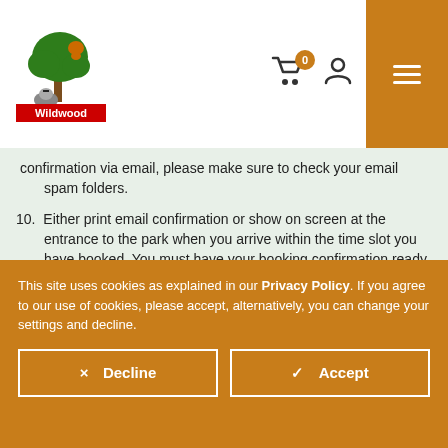[Figure (logo): Wildwood logo with squirrel, tree, badger, and 'Wildwood' text on red background]
...confirmation via email, please make sure to check your email spam folders.
10. Either print email confirmation or show on screen at the entrance to the park when you arrive within the time slot you have booked. You must have your booking confirmation ready to show at entrance to minimise congestion for yourself and others. Please note that this system is for booking a time slot only and does not constitute payment. Members are reminded to bring their membership cards to minimise congestion. For opening
This site uses cookies as explained in our Privacy Policy. If you agree to our use of cookies, please accept, alternatively, you can change your settings and decline.
× Decline   ✓ Accept